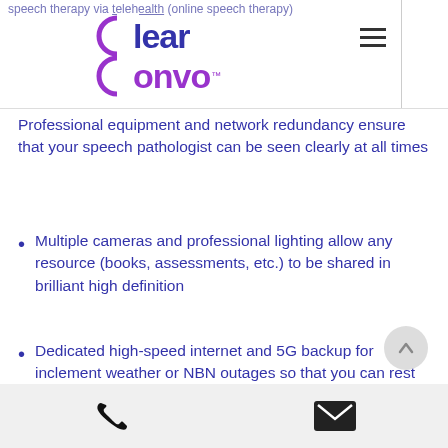speech therapy via telehealth (online speech therapy)...
[Figure (logo): ClearConvo logo with circular C emblem and hamburger menu icon]
Professional equipment and network redundancy ensure that your speech pathologist can be seen clearly at all times
Multiple cameras and professional lighting allow any resource (books, assessments, etc.) to be shared in brilliant high definition
Dedicated high-speed internet and 5G backup for inclement weather or NBN outages so that you can rest assured that your
Phone and email contact icons